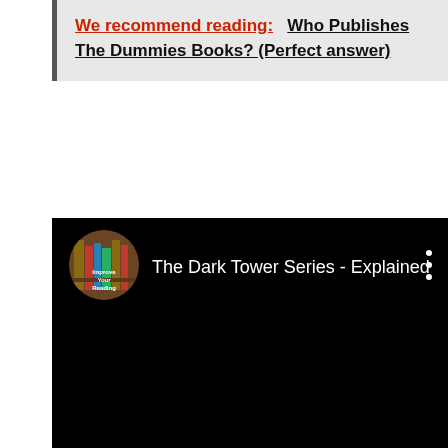We recommend reading: Who Publishes The Dummies Books? (Perfect answer)
[Figure (screenshot): YouTube-style embedded video player showing 'The Dark Tower Series - Explained' with a channel avatar (bookshelf/reading themed) on a black background, with a three-dot menu icon in the upper right.]